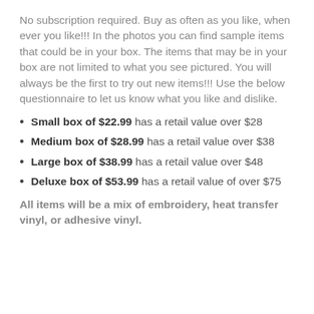No subscription required. Buy as often as you like, when ever you like!!! In the photos you can find sample items that could be in your box. The items that may be in your box are not limited to what you see pictured. You will always be the first to try out new items!!! Use the below questionnaire to let us know what you like and dislike.
Small box of $22.99 has a retail value over $28
Medium box of $28.99 has a retail value over $38
Large box of $38.99 has a retail value over $48
Deluxe box of $53.99 has a retail value of over $75
All items will be a mix of embroidery, heat transfer vinyl, or adhesive vinyl.